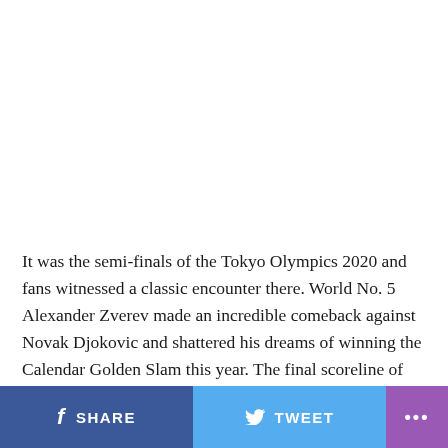It was the semi-finals of the Tokyo Olympics 2020 and fans witnessed a classic encounter there. World No. 5 Alexander Zverev made an incredible comeback against Novak Djokovic and shattered his dreams of winning the Calendar Golden Slam this year. The final scoreline of the match was 1-6, 6-3, 6-1.
SHARE   TWEET   ...